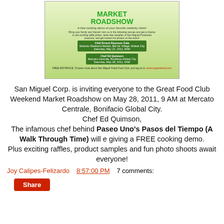[Figure (photo): Great Food Club Weekend Market Roadshow promotional banner featuring two chefs in white uniforms, event details for Chef Ernest Reynoso Gala and Chef Ed Quimson at various venues in May 2011, with San Miguel Great Food Club branding.]
San Miguel Corp. is inviting everyone to the Great Food Club Weekend Market Roadshow on May 28, 2011, 9 AM at Mercato Centrale, Bonifacio Global City.
Chef Ed Quimson,
The infamous chef behind Paseo Uno's Pasos del Tiempo (A Walk Through Time) will e giving a FREE cooking demo.
Plus exciting raffles, product samples and fun photo shoots await everyone!
Joy Calipes-Felizardo   8:57:00 PM   7 comments: